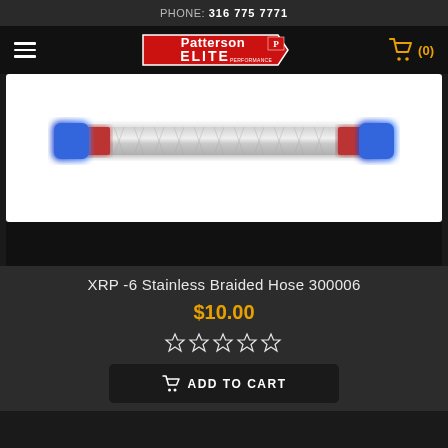PHONE: 316 775 7771
[Figure (logo): Patterson Elite Performance logo in white and red on black background]
[Figure (photo): XRP -6 Stainless Braided Hose product photo showing silver braided hose with blue and red end fittings]
XRP -6 Stainless Braided Hose 300006
$10.00
★★★★★ (0 stars rating)
ADD TO CART